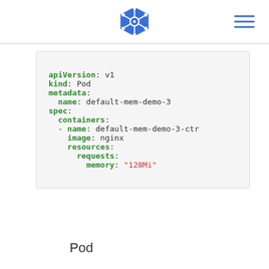Kubernetes logo and navigation
[Figure (other): Kubernetes screenshot showing a YAML code block for a Pod spec with apiVersion, kind, metadata, spec, containers, name, image, resources, requests, and memory fields]
Pod